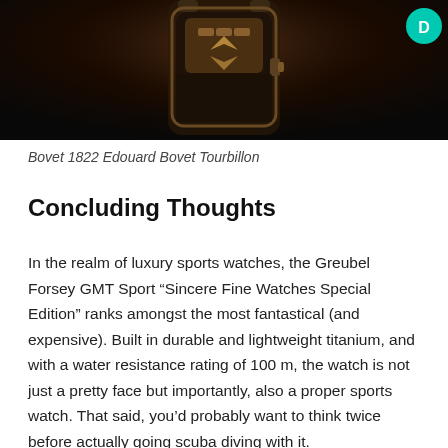[Figure (photo): Partial view of a luxury watch (Bovet 1822 Edouard Bovet Tourbillon) photographed against a dark black background, showing the upper portion of the watch mechanism. A teal/cyan circular avatar with the letter D is visible in the top-right corner.]
Bovet 1822 Edouard Bovet Tourbillon
Concluding Thoughts
In the realm of luxury sports watches, the Greubel Forsey GMT Sport “Sincere Fine Watches Special Edition” ranks amongst the most fantastical (and expensive). Built in durable and lightweight titanium, and with a water resistance rating of 100 m, the watch is not just a pretty face but importantly, also a proper sports watch. That said, you’d probably want to think twice before actually going scuba diving with it.